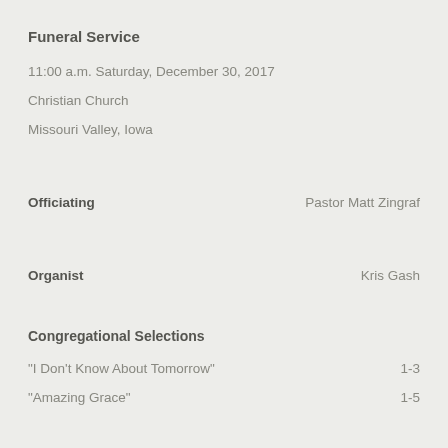Funeral Service
11:00 a.m. Saturday, December 30, 2017
Christian Church
Missouri Valley, Iowa
Officiating    Pastor Matt Zingraf
Organist    Kris Gash
Congregational Selections
“I Don’t Know About Tomorrow”    1-3
“Amazing Grace”    1-5